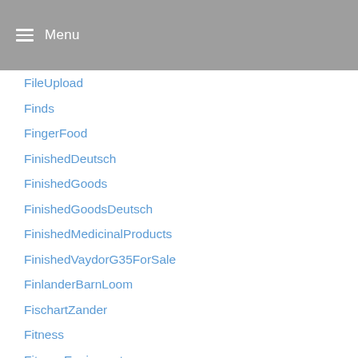Menu
FileUpload
Finds
FingerFood
FinishedDeutsch
FinishedGoods
FinishedGoodsDeutsch
FinishedMedicinalProducts
FinishedVaydorG35ForSale
FinlanderBarnLoom
FischartZander
Fitness
FitnessEquipment
FiveFrugalThings
FiveIngredientRecipe
FloatingHouseBrombachseeMieten
Flour
FlowerGardening